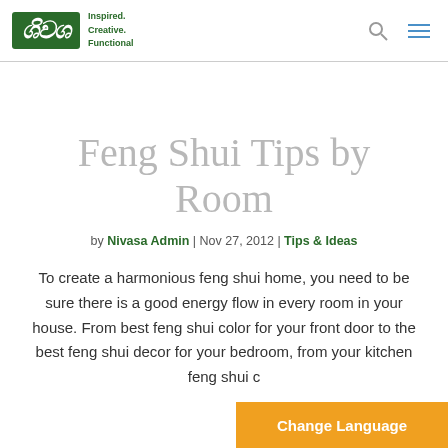Nivasa — Inspired. Creative. Functional.
Feng Shui Tips by Room
by Nivasa Admin | Nov 27, 2012 | Tips & Ideas
To create a harmonious feng shui home, you need to be sure there is a good energy flow in every room in your house. From best feng shui color for your front door to the best feng shui decor for your bedroom, from your kitchen feng shui c…
Change Language